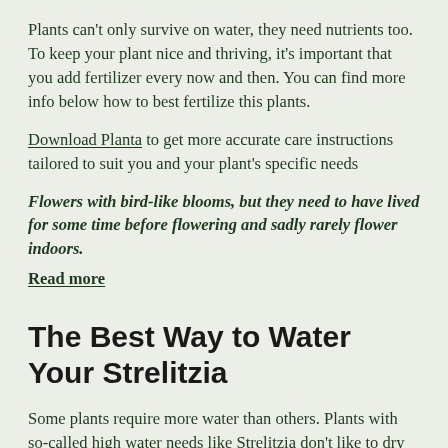Plants can't only survive on water, they need nutrients too. To keep your plant nice and thriving, it's important that you add fertilizer every now and then. You can find more info below how to best fertilize this plants.
Download Planta to get more accurate care instructions tailored to suit you and your plant's specific needs
Flowers with bird-like blooms, but they need to have lived for some time before flowering and sadly rarely flower indoors.
Read more
The Best Way to Water Your Strelitzia
Some plants require more water than others. Plants with so-called high water needs like Strelitzia don't like to dry